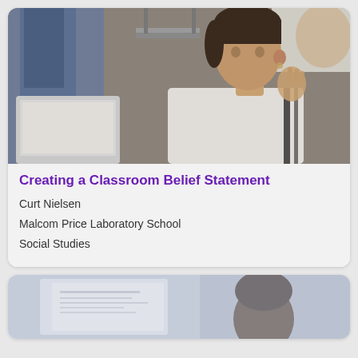[Figure (photo): A young girl in a white sports shirt with black stripes sitting at a desk with a laptop, appearing to be in a classroom setting. Another person visible on the left side wearing jeans.]
Creating a Classroom Belief Statement
Curt Nielsen
Malcom Price Laboratory School
Social Studies
[Figure (photo): Partial view of a second card showing what appears to be a classroom or educational setting image, partially cropped at the bottom of the page.]